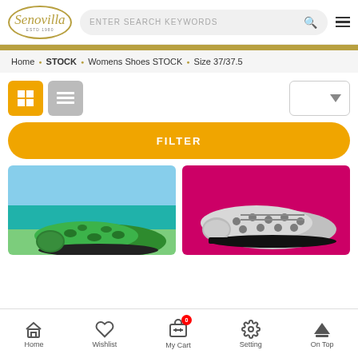[Figure (screenshot): Senovilla brand logo in gold oval]
ENTER SEARCH KEYWORDS
Home • STOCK • Womens Shoes STOCK • Size 37/37.5
[Figure (other): Grid view button (active/orange) and list view button (gray)]
[Figure (other): Sort dropdown]
FILTER
[Figure (photo): Green leopard print flat shoe on beach/ocean background]
[Figure (photo): Silver polka dot oxford shoe on pink background]
Home
Wishlist
My Cart
Setting
On Top